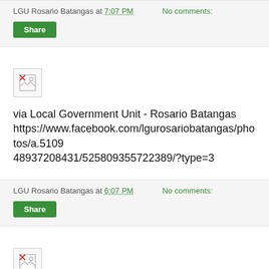LGU Rosario Batangas at 7:07 PM   No comments:
[Figure (other): Broken image placeholder icon]
Share
via Local Government Unit - Rosario Batangas https://www.facebook.com/lgurosariobatangas/photos/a.51094893​7208431/525809355722389/?type=3
LGU Rosario Batangas at 6:07 PM   No comments:
Share
[Figure (other): Broken image placeholder icon]
via Local Government Unit - Rosario Batangas https://www.facebook.com/lgurosariobatangas/photos/a.51094893​7208431/525809610955796/?type=3